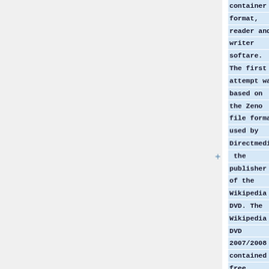container format, reader and writer softare. The first attempt was based on the Zeno file format used by Directmedia, the publisher of the Wikipedia DVD. The Wikipedia DVD 2007/2008 contained a free